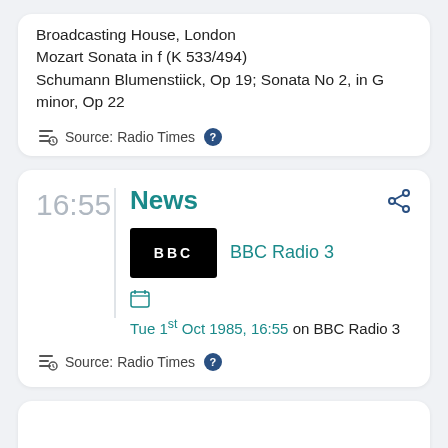Broadcasting House, London
Mozart Sonata in f (K 533/494)
Schumann Blumenstiick, Op 19; Sonata No 2, in G minor, Op 22
Source: Radio Times
16:55
News
BBC Radio 3
Tue 1st Oct 1985, 16:55 on BBC Radio 3
Source: Radio Times